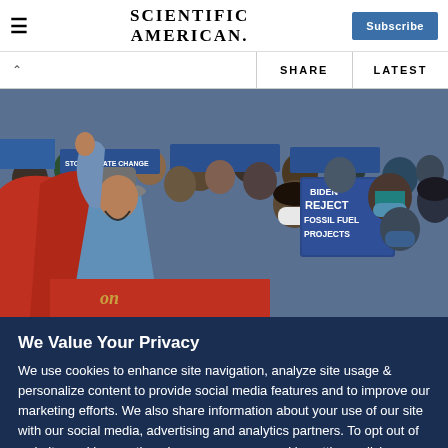SCIENTIFIC AMERICAN — Subscribe
SHARE   LATEST
[Figure (photo): Protest crowd scene with person in blue outfit and gray hat raising fist, sign reading 'BIDEN REJECT FOSSIL FUEL PROJECTS', many people wearing masks]
We Value Your Privacy
We use cookies to enhance site navigation, analyze site usage & personalize content to provide social media features and to improve our marketing efforts. We also share information about your use of our site with our social media, advertising and analytics partners. To opt out of website cookies or otherwise manage your cookie settings, click on Cookie Settings. View our